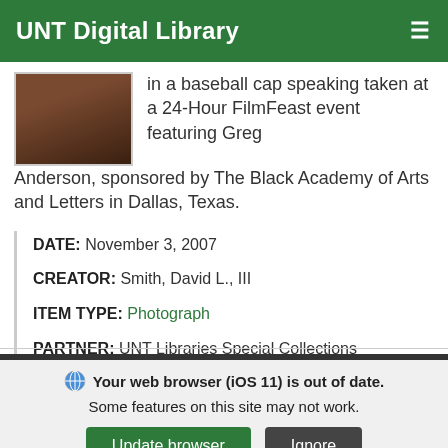UNT Digital Library
[Figure (photo): Thumbnail photo of a person in a baseball cap, dark tones, taken at a 24-Hour FilmFeast event]
in a baseball cap speaking taken at a 24-Hour FilmFeast event featuring Greg Anderson, sponsored by The Black Academy of Arts and Letters in Dallas, Texas.
DATE: November 3, 2007
CREATOR: Smith, David L., III
ITEM TYPE: Photograph
PARTNER: UNT Libraries Special Collections
Your web browser (iOS 11) is out of date. Some features on this site may not work.
Update browser   Ignore